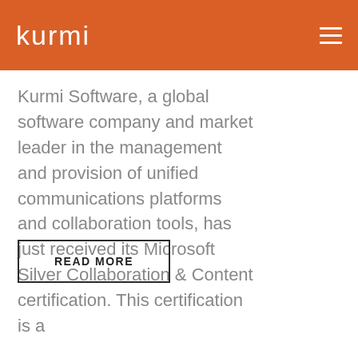kurmi
Kurmi Software, a global software company and market leader in the management and provision of unified communications platforms and collaboration tools, has just received its Microsoft Silver Collaboration & Content certification. This certification is a
READ MORE